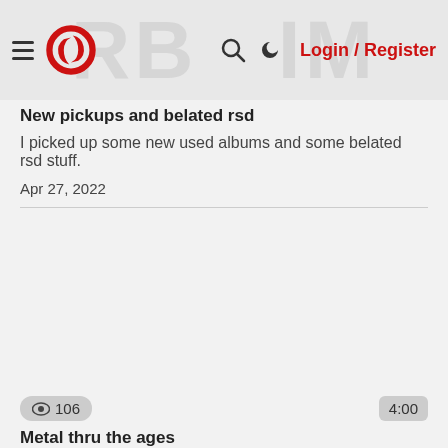Hamburger menu | Logo | Search | Moon | Login / Register
New pickups and belated rsd
I picked up some new used albums and some belated rsd stuff.
Apr 27, 2022
👁 106   4:00
Metal thru the ages